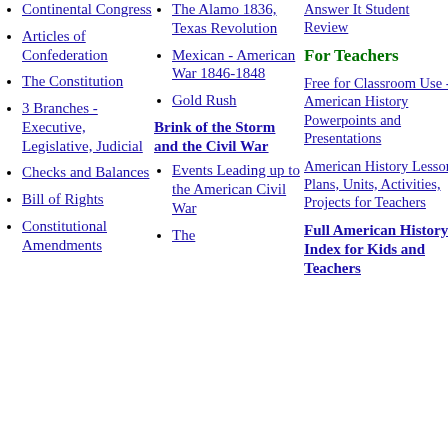Continental Congress
Articles of Confederation
The Constitution
3 Branches - Executive, Legislative, Judicial
Checks and Balances
Bill of Rights
Constitutional Amendments
The Alamo 1836, Texas Revolution
Mexican - American War 1846-1848
Gold Rush
Brink of the Storm and the Civil War
Events Leading up to the American Civil War
The
Answer It Student Review
For Teachers
Free for Classroom Use - American History Powerpoints and Presentations
American History Lesson Plans, Units, Activities, Projects for Teachers
Full American History Index for Kids and Teachers